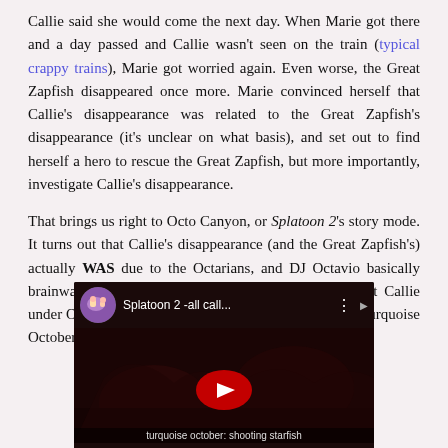Callie said she would come the next day. When Marie got there and a day passed and Callie wasn't seen on the train (typical crappy trains), Marie got worried again. Even worse, the Great Zapfish disappeared once more. Marie convinced herself that Callie's disappearance was related to the Great Zapfish's disappearance (it's unclear on what basis), and set out to find herself a hero to rescue the Great Zapfish, but more importantly, investigate Callie's disappearance.
That brings us right to Octo Canyon, or Splatoon 2's story mode. It turns out that Callie's disappearance (and the Great Zapfish's) actually WAS due to the Octarians, and DJ Octavio basically brainwashing her with a pair of hypnoshades. This got Callie under Octarian control, resulting in her contributing to Turquoise October (an Octarian band)'s songs.
[Figure (screenshot): Embedded YouTube video thumbnail showing 'Splatoon 2 -all call...' with a dark game scene featuring a red YouTube play button, and subtitle text 'turquoise october: shooting starfish']